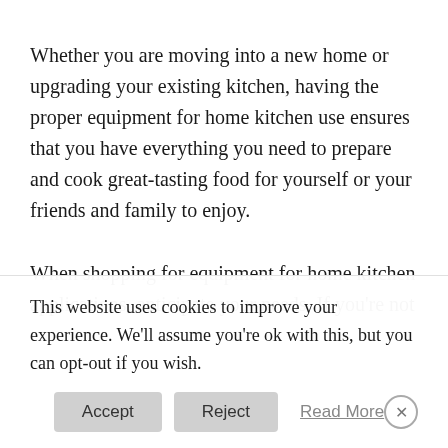Whether you are moving into a new home or upgrading your existing kitchen, having the proper equipment for home kitchen use ensures that you have everything you need to prepare and cook great-tasting food for yourself or your friends and family to enjoy.
When shopping for equipment for home kitchen applications, anticipate your needs. If you're not
This website uses cookies to improve your experience. We'll assume you're ok with this, but you can opt-out if you wish.